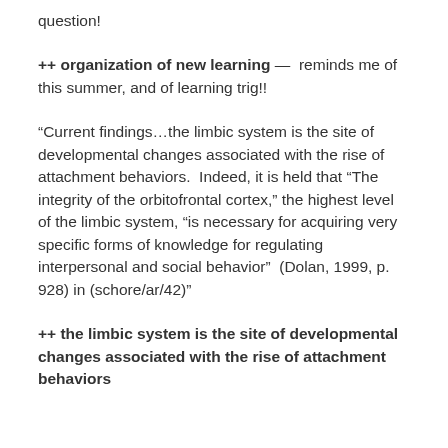question!
++ organization of new learning — reminds me of this summer, and of learning trig!!
“Current findings…the limbic system is the site of developmental changes associated with the rise of attachment behaviors.  Indeed, it is held that “The integrity of the orbitofrontal cortex,” the highest level of the limbic system, “is necessary for acquiring very specific forms of knowledge for regulating interpersonal and social behavior”  (Dolan, 1999, p. 928) in (schore/ar/42)”
++ the limbic system is the site of developmental changes associated with the rise of attachment behaviors